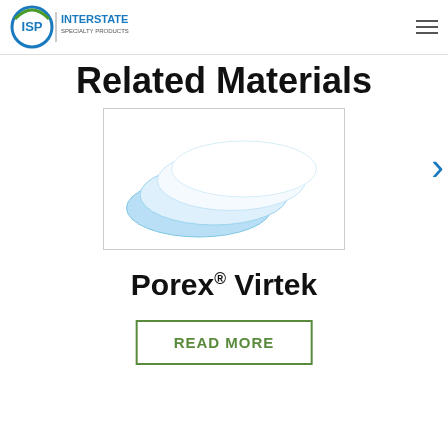[Figure (logo): ISP Interstate Specialty Products logo — circular green/blue icon with 'ISP' text and vertical bar followed by 'INTERSTATE SPECIALTY PRODUCTS' text]
Related Materials
[Figure (photo): Stack of white circular porous filter discs with blue tinted edges fanned out on white background]
Porex® Virtek
READ MORE